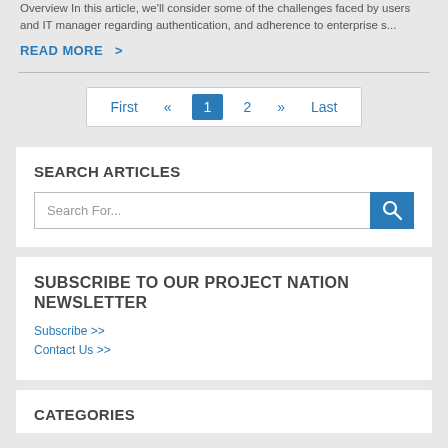Overview In this article, we'll consider some of the challenges faced by users and IT manager regarding authentication, and adherence to enterprise s...
READ MORE  >
First  «  1  2  »  Last
SEARCH ARTICLES
Search For...
SUBSCRIBE TO OUR PROJECT NATION NEWSLETTER
Subscribe >>
Contact Us >>
CATEGORIES